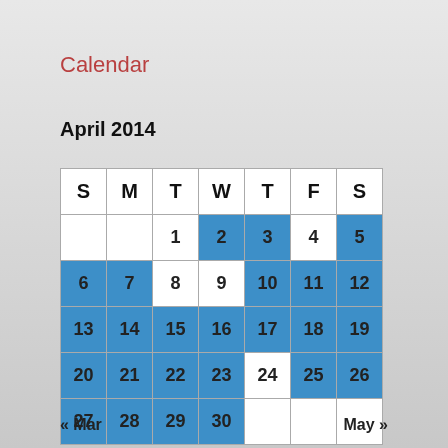Calendar
April 2014
| S | M | T | W | T | F | S |
| --- | --- | --- | --- | --- | --- | --- |
|  |  | 1 | 2 | 3 | 4 | 5 |
| 6 | 7 | 8 | 9 | 10 | 11 | 12 |
| 13 | 14 | 15 | 16 | 17 | 18 | 19 |
| 20 | 21 | 22 | 23 | 24 | 25 | 26 |
| 27 | 28 | 29 | 30 |  |  |  |
« Mar
May »